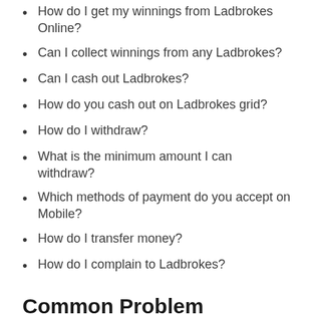How do I get my winnings from Ladbrokes Online?
Can I collect winnings from any Ladbrokes?
Can I cash out Ladbrokes?
How do you cash out on Ladbrokes grid?
How do I withdraw?
What is the minimum amount I can withdraw?
Which methods of payment do you accept on Mobile?
How do I transfer money?
How do I complain to Ladbrokes?
Common Problem Categories
Withdraw
Transfer
Betting
Gaming